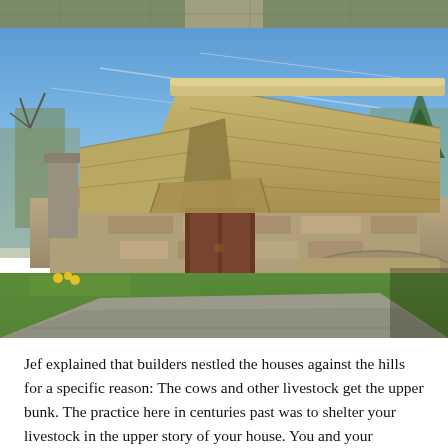[Figure (photo): Partial view of a stone building with thatched roof, cropped at top of page]
[Figure (photo): A traditional stone building with a large thatched roof, wooden doors, set against a blue sky with bare trees and a green lawn in the foreground. A driveway curves in front.]
Jef explained that builders nestled the houses against the hills for a specific reason: The cows and other livestock get the upper bunk. The practice here in centuries past was to shelter your livestock in the upper story of your house. You and your